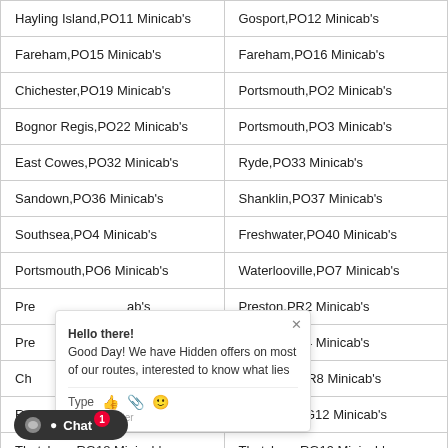| Hayling Island,PO11 Minicab's | Gosport,PO12 Minicab's |
| Fareham,PO15 Minicab's | Fareham,PO16 Minicab's |
| Chichester,PO19 Minicab's | Portsmouth,PO2 Minicab's |
| Bognor Regis,PO22 Minicab's | Portsmouth,PO3 Minicab's |
| East Cowes,PO32 Minicab's | Ryde,PO33 Minicab's |
| Sandown,PO36 Minicab's | Shanklin,PO37 Minicab's |
| Southsea,PO4 Minicab's | Freshwater,PO40 Minicab's |
| Portsmouth,PO6 Minicab's | Waterlooville,PO7 Minicab's |
| Preston,PR1 Minicab's | Preston,PR2 Minicab's |
| Preston,PR3 Minicab's | Preston,PR4 Minicab's |
| Chorley,PR7 Minicab's | Southport,PR8 Minicab's |
| Reading,RG10 Minicab's | Bracknell,RG12 Minicab's |
| Thatcham,RG18 Minicab's | Thatcham,RG19 Minicab's |